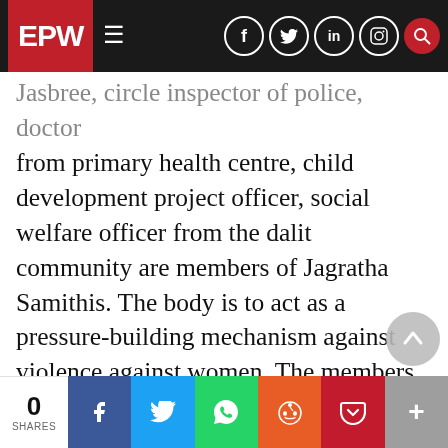EPW — navigation bar with logo, hamburger menu, and social icons (Facebook, Twitter, LinkedIn, Instagram, Search)
...Jasbree, circle inspector of police, doctor from primary health centre, child development project officer, social welfare officer from the dalit community are members of Jagratha Samithis. The body is to act as a pressure-building mechanism against violence against women. The members of Jagratha Samithis have been trained in the Kerala Institute of Local Level Administration but their sensitivity to deal with violence is inadequate and it has been difficult to institutionalise the system. This is one of the most lucid examples of trying to bring about policy to combat violence against women but entrenched patriarchal values ha[ve]...
0 SHARES | Facebook | Twitter | WhatsApp | Reddit | Pocket | More